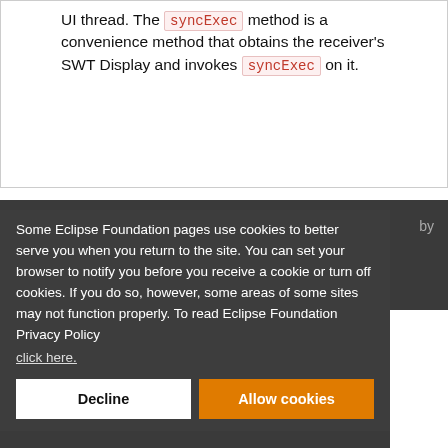UI thread. The syncExec method is a convenience method that obtains the receiver's SWT Display and invokes syncExec on it.
Some Eclipse Foundation pages use cookies to better serve you when you return to the site. You can set your browser to notify you before you receive a cookie or turn off cookies. If you do so, however, some areas of some sites may not function properly. To read Eclipse Foundation Privacy Policy
click here.
Decline
Allow cookies